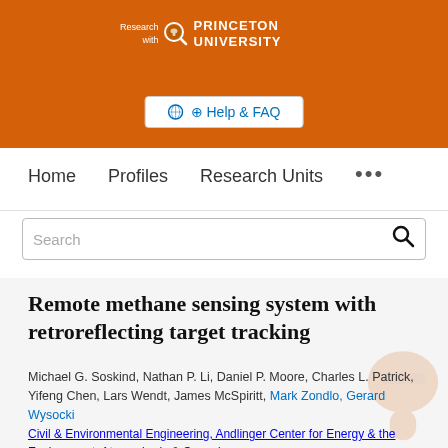[Figure (logo): Princeton University 'Research with' logo on orange background header]
⊕ Help & FAQ
Home   Profiles   Research Units   •••
Search
Remote methane sensing system with retroreflecting target tracking
Michael G. Soskind, Nathan P. Li, Daniel P. Moore, Charles L. Patrick, Yifeng Chen, Lars Wendt, James McSpiritt, Mark Zondlo, Gerard Wysocki
Civil & Environmental Engineering, Andlinger Center for Energy & the Environment, Atmospheric & Oceanic